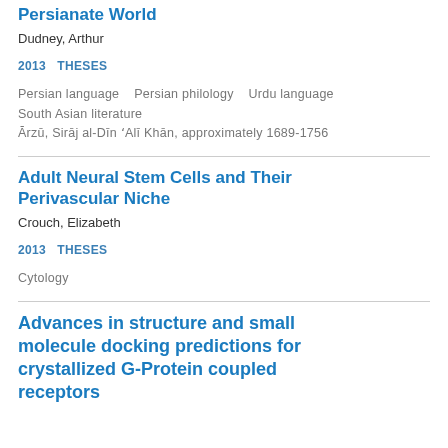Persianate World
Dudney, Arthur
2013    THESES
Persian language    Persian philology    Urdu language
South Asian literature
Ārzū, Sirāj al-Dīn ʻAlī Khān, approximately 1689-1756
Adult Neural Stem Cells and Their Perivascular Niche
Crouch, Elizabeth
2013    THESES
Cytology
Advances in structure and small molecule docking predictions for crystallized G-Protein coupled receptors